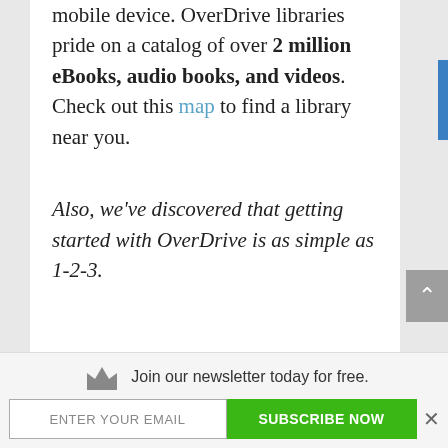mobile device. OverDrive libraries pride on a catalog of over 2 million eBooks, audio books, and videos. Check out this map to find a library near you.
Also, we've discovered that getting started with OverDrive is as simple as 1-2-3.
Join our newsletter today for free.
ENTER YOUR EMAIL
SUBSCRIBE NOW